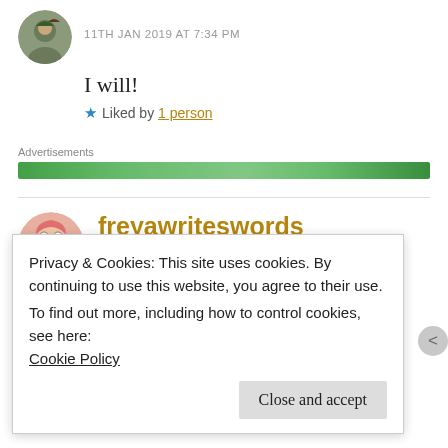11TH JAN 2019 AT 7:34 PM
I will!
★ Liked by 1 person
Advertisements
freyawriteswords
11TH JAN 2019 AT 5:43 PM
Privacy & Cookies: This site uses cookies. By continuing to use this website, you agree to their use.
To find out more, including how to control cookies, see here:
Cookie Policy
Close and accept